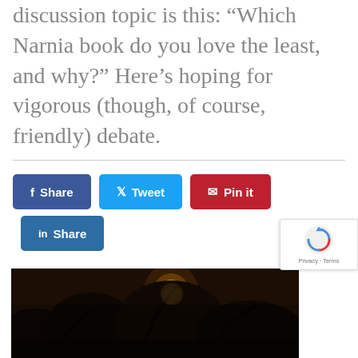discussion topic is this: “Which Narnia book do you love the least, and why?” Here’s hoping for vigorous (though, of course, friendly) debate.
[Figure (other): Social share buttons: Facebook Share (dark blue), Twitter Tweet (light blue), Pinterest Pin it (red), LinkedIn Share (dark blue)]
[Figure (photo): Sunlight through trees, dark silhouette of foliage with bright sun visible through branches]